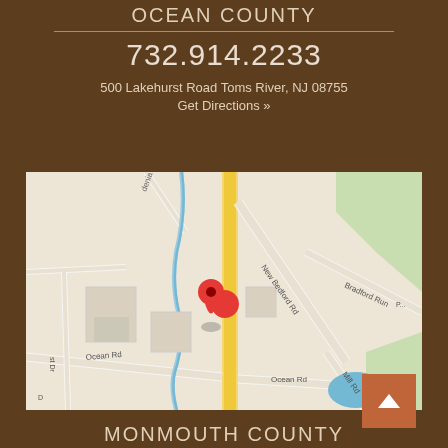OCEAN COUNTY
732.914.2233
500 Lakehurst Road Toms River, NJ 08755
Get Directions »
[Figure (map): Google map showing location with red pin marker near Ocean Rd / New Bedford Rd intersection in Toms River, NJ. Street labels visible: denia Ct, New Bedford Rd, Bradford Run, Ocean Rd, Mill Rd, st Dr.]
MONMOUTH COUNTY